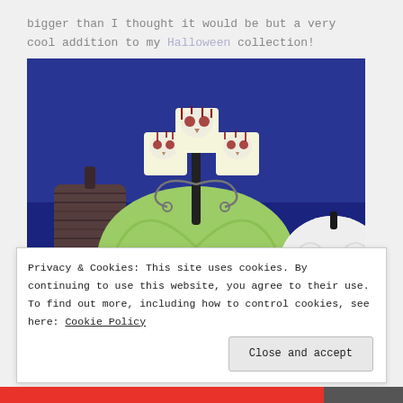bigger than I thought it would be but a very cool addition to my Halloween collection!
[Figure (photo): Photo of Halloween decorations: a green ceramic skull-faced pumpkin with three decorative skull figures on top mounted on metal swirls, a wicker/twig pumpkin on the left, and a white pumpkin on the right, all against a dark blue background.]
Privacy & Cookies: This site uses cookies. By continuing to use this website, you agree to their use. To find out more, including how to control cookies, see here: Cookie Policy
Close and accept